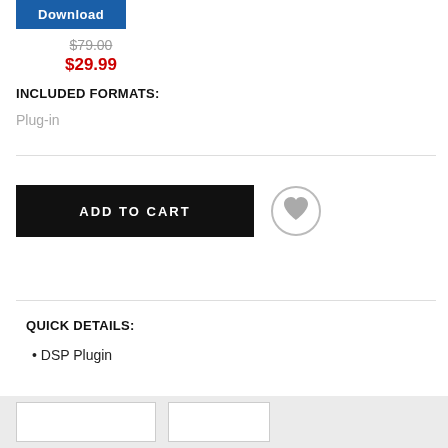Download
$79.00
$29.99
INCLUDED FORMATS:
Plug-in
ADD TO CART
QUICK DETAILS:
DSP Plugin